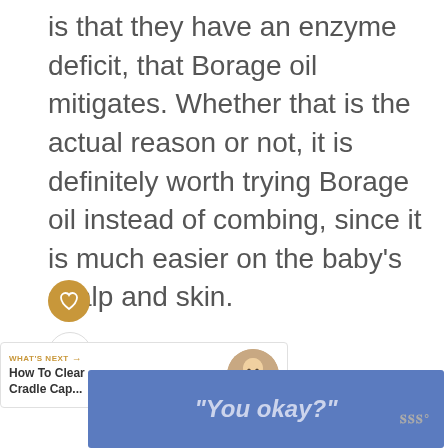is that they have an enzyme deficit, that Borage oil mitigates. Whether that is the actual reason or not, it is definitely worth trying Borage oil instead of combing, since it is much easier on the baby's scalp and skin.
[Figure (other): Heart (like/favorite) icon button — golden/amber circle with white heart outline]
[Figure (other): Share icon button — white circle with share/add symbol]
WHAT'S NEXT → How To Clear Cradle Cap...
[Figure (photo): Small circular thumbnail photo of a baby's face]
[Figure (other): Advertisement banner with blue background showing the text "You okay?" in italic style, with a small logo to the right]